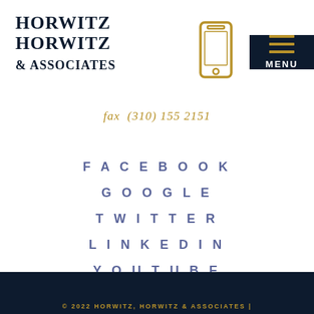HORWITZ HORWITZ & Associates
fax (310) 155 2151
FACEBOOK
GOOGLE
TWITTER
LINKEDIN
YOUTUBE
© 2022 HORWITZ, HORWITZ & ASSOCIATES |